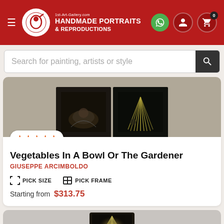1st-Art-Gallery.com HANDMADE PORTRAITS & REPRODUCTIONS
Search for painting, artists or style
[Figure (photo): Two dark close-up paintings shown side by side: left shows a bowl with vegetables, right shows fan-like radial composition with dark tones]
★★★★★
Vegetables In A Bowl Or The Gardener
GIUSEPPE ARCIMBOLDO
PICK SIZE   PICK FRAME
Starting from  $313.75
[Figure (photo): Partial view of a second painting with bright radiating light effect and dark background]